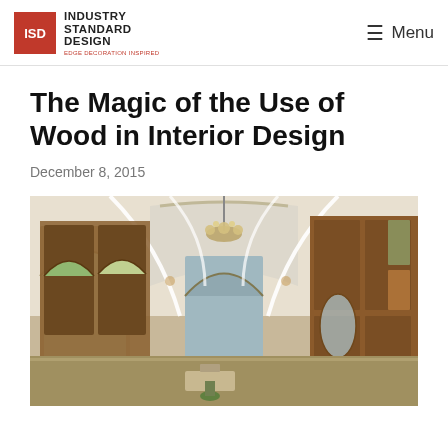ISD | INDUSTRY STANDARD DESIGN | Menu
The Magic of the Use of Wood in Interior Design
December 8, 2015
[Figure (photo): Ornate interior room featuring wood-framed arched doors and windows with stained glass panels, white vaulted arched ceilings, a decorative chandelier with floral motifs, and Art Nouveau style woodwork throughout.]